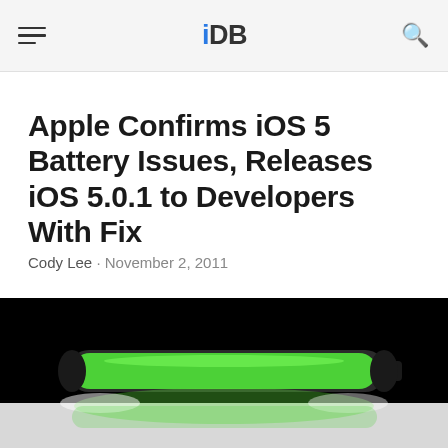iDB
Apple Confirms iOS 5 Battery Issues, Releases iOS 5.0.1 to Developers With Fix
Cody Lee · November 2, 2011
[Figure (photo): A glowing green cylindrical battery on a dark background with reflection below]